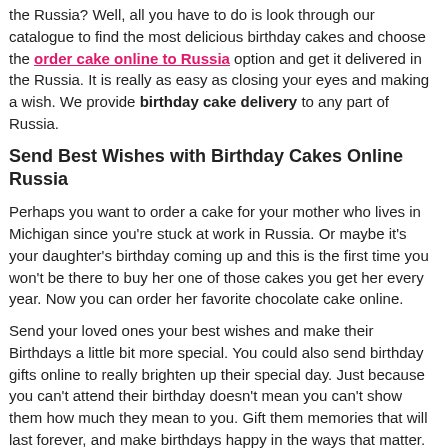the Russia? Well, all you have to do is look through our catalogue to find the most delicious birthday cakes and choose the order cake online to Russia option and get it delivered in the Russia. It is really as easy as closing your eyes and making a wish. We provide birthday cake delivery to any part of Russia.
Send Best Wishes with Birthday Cakes Online Russia
Perhaps you want to order a cake for your mother who lives in Michigan since you're stuck at work in Russia. Or maybe it's your daughter's birthday coming up and this is the first time you won't be there to buy her one of those cakes you get her every year. Now you can order her favorite chocolate cake online.
Send your loved ones your best wishes and make their Birthdays a little bit more special. You could also send birthday gifts online to really brighten up their special day. Just because you can't attend their birthday doesn't mean you can't show them how much they mean to you. Gift them memories that will last forever, and make birthdays happy in the ways that matter.
International Birthday Delivery Options:
Vietnam Birthday Cake Delivery, Saudi Arabia Birthday Cake Delivery
It is never late to celebrate!
Sending a gift for birthday, anniversary or any other occasion should be easy. And for that matter we've made it is extremely easy for you to book your order with giftblooms.com from anywhere in the world. Get